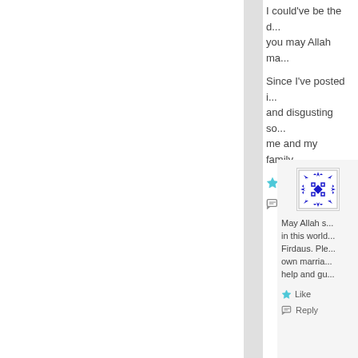I could've be the d... you may Allah ma...
Since I've posted i... and disgusting so... me and my family...
Like
Reply
[Figure (illustration): Blue and white decorative tile pattern avatar image]
May Allah s... in this world... Firdaus. Ple... own marria... help and gu...
Like
Reply